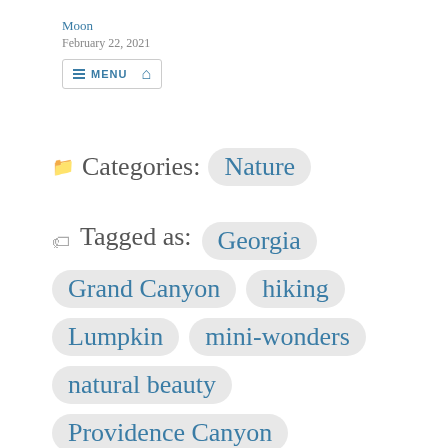Moon
February 22, 2021
[MENU] [HOME]
Categories: Nature
Tagged as: Georgia  Grand Canyon  hiking  Lumpkin  mini-wonders  natural beauty  Providence Canyon  Zelda Fitzgerald